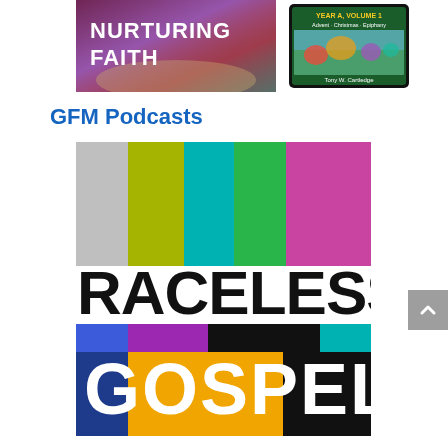[Figure (illustration): Nurturing Faith book/tablet advertisement showing text 'NURTURING FAITH' on left with garden background and a tablet on right showing 'YEAR A, VOLUME 1, Advent Christmas Epiphany, Tony W. Cartledge']
GFM Podcasts
[Figure (logo): Raceless Gospel podcast logo — top half shows vertical colored bars (gray, olive/yellow-green, teal, green, purple) on white background with 'RACELESS' text in bold black; bottom half shows 'GOSPEL' text with colored block background (blue, navy, purple, teal, gold/orange, black squares)]